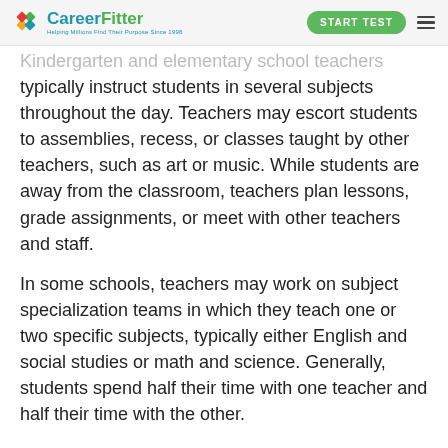CareerFitter — Helping Millions Find Their Purpose Since 1998 | START TEST
Kindergarten and elementary school teachers typically instruct students in several subjects throughout the day. Teachers may escort students to assemblies, recess, or classes taught by other teachers, such as art or music. While students are away from the classroom, teachers plan lessons, grade assignments, or meet with other teachers and staff.
In some schools, teachers may work on subject specialization teams in which they teach one or two specific subjects, typically either English and social studies or math and science. Generally, students spend half their time with one teacher and half their time with the other.